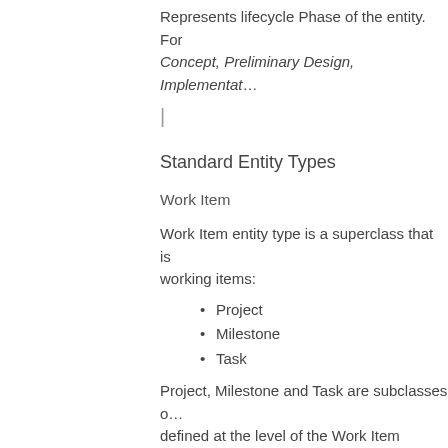Represents lifecycle Phase of the entity. For example: Concept, Preliminary Design, Implementat…
|
Standard Entity Types
Work Item
Work Item entity type is a superclass that is… working items:
Project
Milestone
Task
Project, Milestone and Task are subclasses of… defined at the level of the Work Item entity… while fields that differ between these entity…
While creating actual object of one of the w… Milestone or Task respectively to designate…